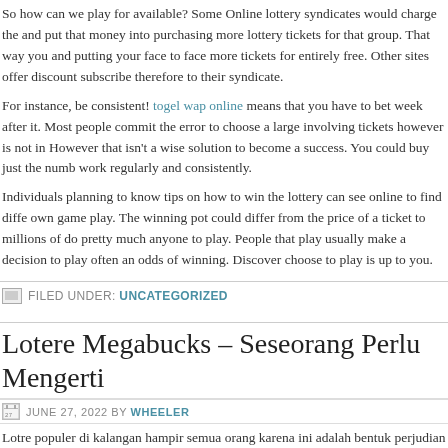So how can we play for available? Some Online lottery syndicates would charge the and put that money into purchasing more lottery tickets for that group. That way you and putting your face to face more tickets for entirely free. Other sites offer discount subscribe therefore to their syndicate.
For instance, be consistent! togel wap online means that you have to bet week after it. Most people commit the error to choose a large involving tickets however is not in However that isn't a wise solution to become a success. You could buy just the numb work regularly and consistently.
Individuals planning to know tips on how to win the lottery can see online to find diffe own game play. The winning pot could differ from the price of a ticket to millions of do pretty much anyone to play. People that play usually make a decision to play often an odds of winning. Discover choose to play is up to you.
FILED UNDER: UNCATEGORIZED
Lotere Megabucks – Seseorang Perlu Mengerti
JUNE 27, 2022 BY WHEELER
Lotre populer di kalangan hampir semua orang karena ini adalah bentuk perjudian ya kemungkinan menang rendah, hadiahnya tinggi. Ini sangat tinggi cahaya dan biaya t Anda dapat bertaruh hanya dengan satu dolar dan menang dekat dengan ribuan.